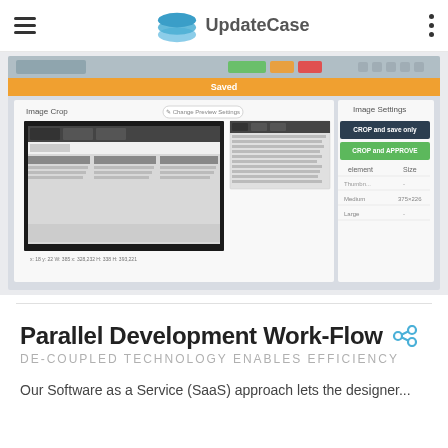UpdateCase
[Figure (screenshot): Screenshot of UpdateCase image crop interface showing an image cropping tool with 'Saved' notification, Image Crop panel, image settings with crop and approve buttons, and size options including Medium (375x226) and Large.]
Parallel Development Work-Flow
DE-COUPLED TECHNOLOGY ENABLES EFFICIENCY
Our Software as a Service (SaaS) approach lets the designer...